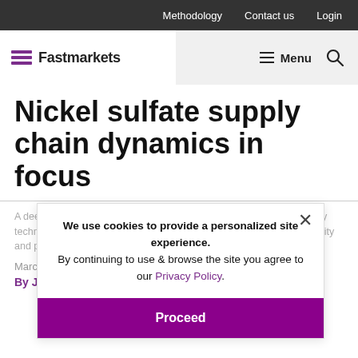Methodology   Contact us   Login
[Figure (logo): Fastmarkets logo with purple stacked lines icon and Fastmarkets wordmark]
Nickel sulfate supply chain dynamics in focus
We use cookies to provide a personalized site experience.
By continuing to use & browse the site you agree to our Privacy Policy.
A deeper look at nickel sulfate and the challenges, the focus on battery technology and the challenges relating to production costs, sustainability and performance becomes more acute
March 30, 2021
By Jon Mulcahy